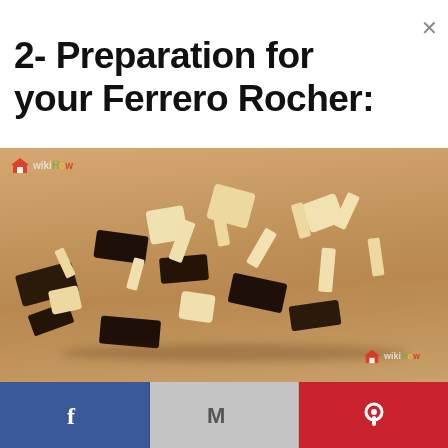2- Preparation for your Ferrero Rocher:
[Figure (photo): Chopped dark and white chocolate pieces scattered on a wooden cutting board, with cocoa shavings and chunks. WikiHow watermark visible on top-left and bottom-right of the image.]